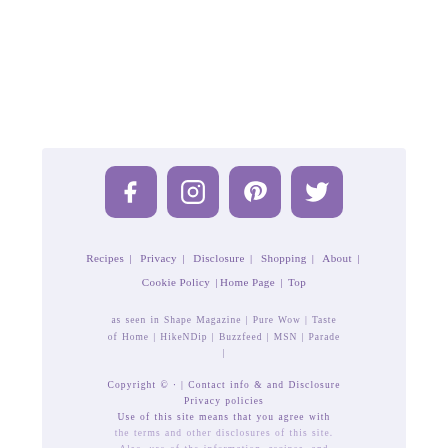[Figure (other): Four social media icon buttons (Facebook, Instagram, Pinterest, Twitter) in purple rounded squares]
Recipes | Privacy | Disclosure | Shopping | About | Cookie Policy | Home Page | Top
as seen in Shape Magazine | Pure Wow | Taste of Home | HikeNDip | Buzzfeed | MSN | Parade |
Copyright © · | Contact info & and Disclosure Privacy policies Use of this site means that you agree with the terms and other disclosures of this site. Also, use of the information, recipes, and images without written consent from the owner of this site is prohibited.